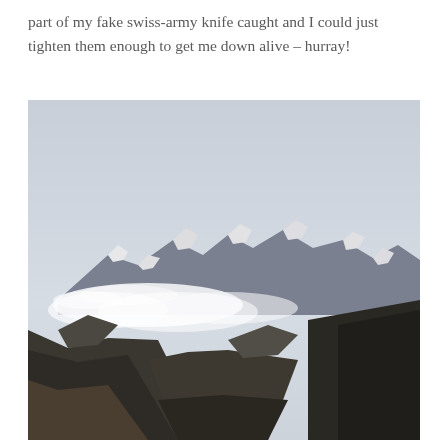part of my fake swiss-army knife caught and I could just tighten them enough to get me down alive – hurray!
[Figure (photo): Mountain landscape with snow-capped peaks, low clouds and mist drifting across dark rocky slopes, view into a deep valley, overcast sky.]